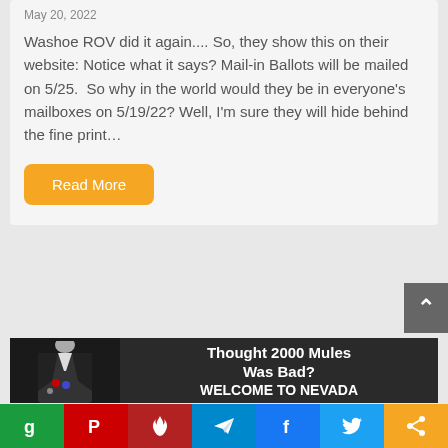May 20, 2022
Washoe ROV did it again.... So, they show this on their website: Notice what it says? Mail-in Ballots will be mailed on 5/25.  So why in the world would they be in everyone's mailboxes on 5/19/22? Well, I'm sure they will hide behind the fine print...
Read More
[Figure (photo): Grayscale photo of a person in a dark blazer with campaign buttons, overlaid with text: 'Thought 2000 Mules Was Bad? WELCOME TO NEVADA']
[Figure (other): Social sharing bar with icons: Gettr (green), Parler (dark red), MeWe (red with flame), Telegram (blue), Facebook (blue), Twitter (blue), Share (orange)]